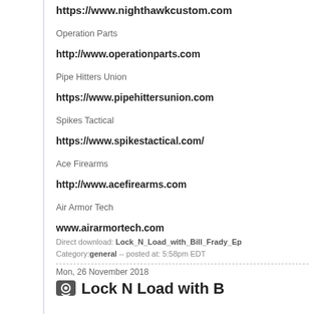https://www.nighthawkcustom.com
Operation Parts
http://www.operationparts.com
Pipe Hitters Union
https://www.pipehittersunion.com
Spikes Tactical
https://www.spikestactical.com/
Ace Firearms
http://www.acefirearms.com
Air Armor Tech
www.airarmortech.com
Direct download: Lock_N_Load_with_Bill_Frady_Ep Category:general -- posted at: 5:58pm EDT
Mon, 26 November 2018
Lock N Load with B